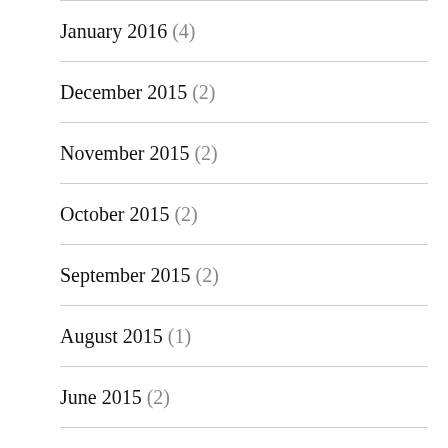January 2016 (4)
December 2015 (2)
November 2015 (2)
October 2015 (2)
September 2015 (2)
August 2015 (1)
June 2015 (2)
May 2015 (5)
April 2015 (3)
March 2015 (8)